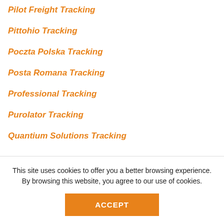Pilot Freight Tracking
Pittohio Tracking
Poczta Polska Tracking
Posta Romana Tracking
Professional Tracking
Purolator Tracking
Quantium Solutions Tracking
This site uses cookies to offer you a better browsing experience. By browsing this website, you agree to our use of cookies.
ACCEPT